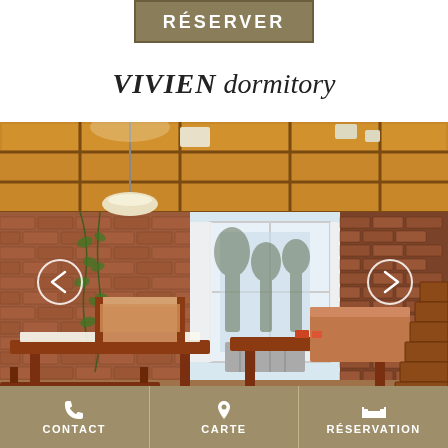RÉSERVER
VIVIEN dormitory
[Figure (photo): Interior photo of the VIVIEN dormitory showing wooden ceiling beams, brick-patterned wallpaper with ivy, bunk beds, wooden tables and benches, and a window with white curtains. Navigation arrows on left and right sides.]
CONTACT | CARTE | RÉSERVATION